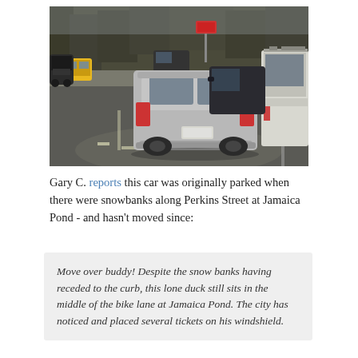[Figure (photo): A street scene showing cars in traffic including a silver Subaru hatchback in the center lane, a white SUV on the right, and a yellow school bus visible in the background. Bare trees line the road.]
Gary C. reports this car was originally parked when there were snowbanks along Perkins Street at Jamaica Pond - and hasn't moved since:
Move over buddy! Despite the snow banks having receded to the curb, this lone duck still sits in the middle of the bike lane at Jamaica Pond. The city has noticed and placed several tickets on his windshield.